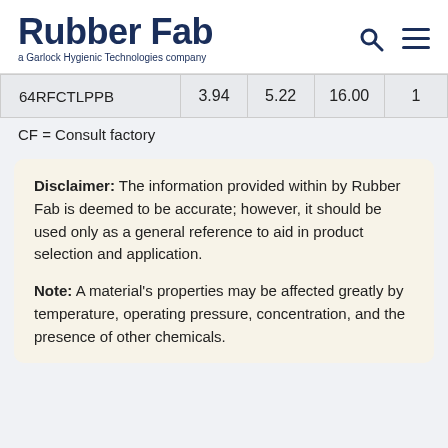Rubber Fab — a Garlock Hygienic Technologies company
|  |  |  |  |  |
| --- | --- | --- | --- | --- |
| 64RFCTLPPB | 3.94 | 5.22 | 16.00 | 1… |
CF = Consult factory
Disclaimer: The information provided within by Rubber Fab is deemed to be accurate; however, it should be used only as a general reference to aid in product selection and application.
Note: A material's properties may be affected greatly by temperature, operating pressure, concentration, and the presence of other chemicals.